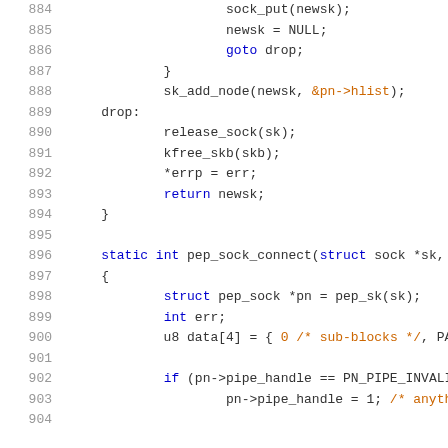884   sock_put(newsk);
885   newsk = NULL;
886   goto drop;
887   }
888   sk_add_node(newsk, &pn->hlist);
889 drop:
890   release_sock(sk);
891   kfree_skb(skb);
892   *errp = err;
893   return newsk;
894 }
895
896 static int pep_sock_connect(struct sock *sk, st
897 {
898   struct pep_sock *pn = pep_sk(sk);
899   int err;
900   u8 data[4] = { 0 /* sub-blocks */, PAD,
901
902   if (pn->pipe_handle == PN_PIPE_INVALID_
903       pn->pipe_handle = 1; /* anythin
904